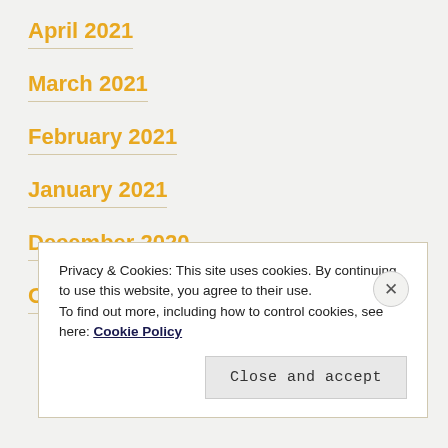April 2021
March 2021
February 2021
January 2021
December 2020
October 2020
Privacy & Cookies: This site uses cookies. By continuing to use this website, you agree to their use.
To find out more, including how to control cookies, see here: Cookie Policy
Close and accept